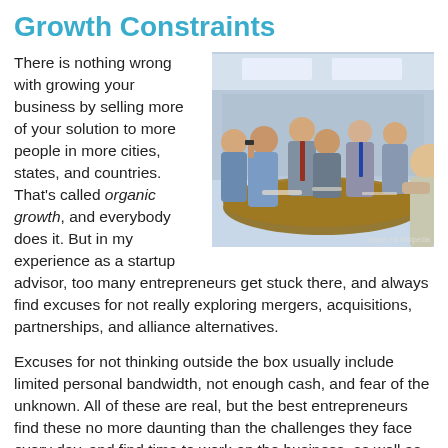Growth Constraints
[Figure (photo): A group of business people in suits gathered around a conference table in a meeting room, talking and gesturing. Image via Wikipedia.]
There is nothing wrong with growing your business by selling more of your solution to more people in more cities, states, and countries. That’s called organic growth, and everybody does it. But in my experience as a startup advisor, too many entrepreneurs get stuck there, and always find excuses for not really exploring mergers, acquisitions, partnerships, and alliance alternatives.
Excuses for not thinking outside the box usually include limited personal bandwidth, not enough cash, and fear of the unknown. All of these are real, but the best entrepreneurs find these no more daunting than the challenges they face every day, and find time to work on the business, as well as working in the business. Here are the key steps I